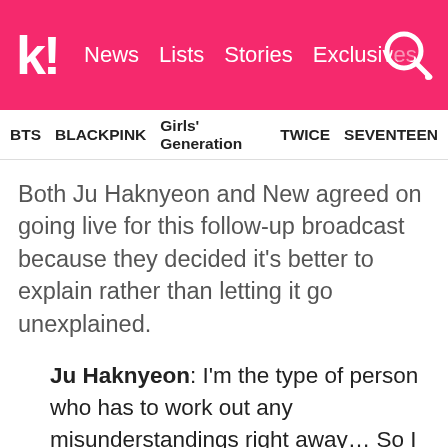k! News Lists Stories Exclusives
BTS BLACKPINK Girls' Generation TWICE SEVENTEEN
Both Ju Haknyeon and New agreed on going live for this follow-up broadcast because they decided it's better to explain rather than letting it go unexplained.
Ju Haknyeon: I'm the type of person who has to work out any misunderstandings right away… So I said we should go live and tell everyone what happened, even if it feels funny that we have to explain such things. And, more importantly, while our fans have learned a lot about our personalities and stuff in the past three